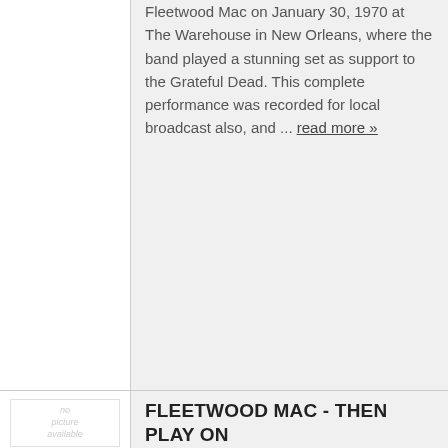Fleetwood Mac on January 30, 1970 at The Warehouse in New Orleans, where the band played a stunning set as support to the Grateful Dead. This complete performance was recorded for local broadcast also, and ... read more »
FLEETWOOD MAC - THEN PLAY ON
LP (12"/10" Album) · REPRISE · 04/11/2020 ·